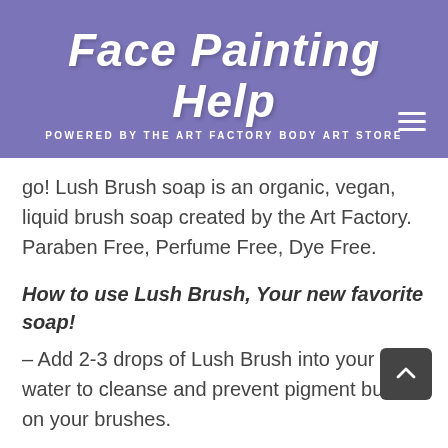Face Painting Help — POWERED BY THE ART FACTORY BODY ART STORE
go! Lush Brush soap is an organic, vegan, liquid brush soap created by the Art Factory. Paraben Free, Perfume Free, Dye Free.
How to use Lush Brush, Your new favorite soap!
– Add 2-3 drops of Lush Brush into your paint water to cleanse and prevent pigment buildup on your brushes.
– Lather onto brushes after painting to help remove all traces of makeup.
– Apply directly to the skin to remove face paint. Lush Brush Organic Liquid Soap is gentle and suitable for